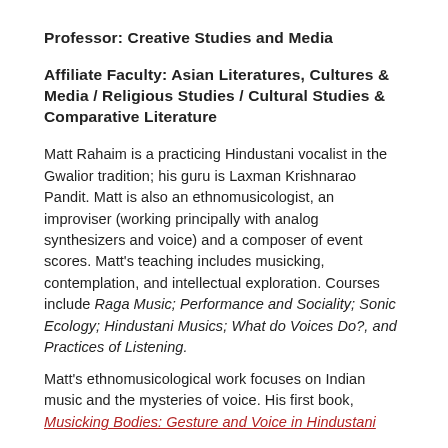Professor: Creative Studies and Media
Affiliate Faculty: Asian Literatures, Cultures & Media / Religious Studies / Cultural Studies & Comparative Literature
Matt Rahaim is a practicing Hindustani vocalist in the Gwalior tradition; his guru is Laxman Krishnarao Pandit. Matt is also an ethnomusicologist, an improviser (working principally with analog synthesizers and voice) and a composer of event scores. Matt's teaching includes musicking, contemplation, and intellectual exploration. Courses include Raga Music; Performance and Sociality; Sonic Ecology; Hindustani Musics; What do Voices Do?, and Practices of Listening.
Matt's ethnomusicological work focuses on Indian music and the mysteries of voice. His first book, Musicking Bodies: Gesture and Voice in Hindustani Music...